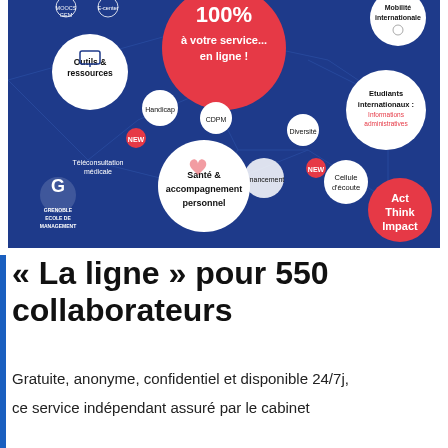[Figure (infographic): Blue background infographic from Grenoble Ecole de Management showing an interconnected network of services '100% à votre service... en ligne!' with nodes including Outils & ressources, Handicap, Téléconsultation médicale, CDPM, Diversité, Financement, Cellule d'écoute (NEW), Santé & accompagnement personnel, Etudiants internationaux: Informations administratives, and Act Think Impact badge. GEM logo visible.]
« La ligne » pour 550 collaborateurs
Gratuite, anonyme, confidentiel et disponible 24/7j, ce service indépendant assuré par le cabinet